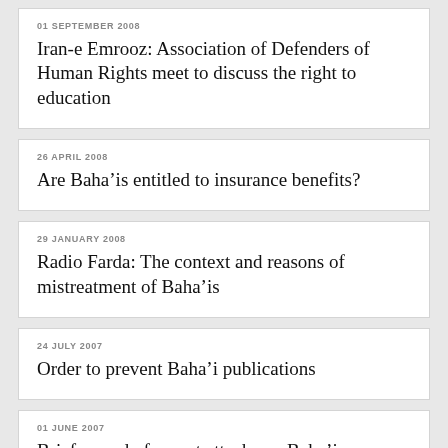01 SEPTEMBER 2008
Iran-e Emrooz: Association of Defenders of Human Rights meet to discuss the right to education
26 APRIL 2008
Are Baha'is entitled to insurance benefits?
29 JANUARY 2008
Radio Farda: The context and reasons of mistreatment of Baha'is
24 JULY 2007
Order to prevent Baha'i publications
01 JUNE 2007
Brief record of recent attacks on Baha'is